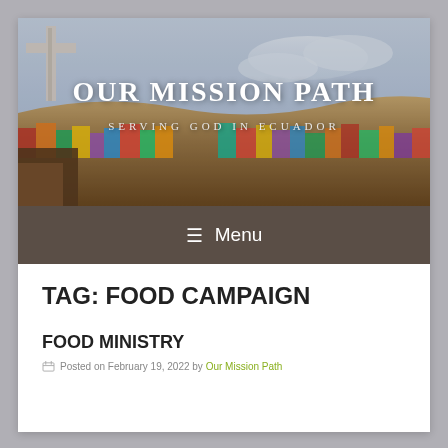[Figure (photo): Website header banner showing a colorful city hillside in Ecuador with a large cross in the foreground. Overlaid white text reads 'OUR MISSION PATH' and subtitle 'SERVING GOD IN ECUADOR'.]
OUR MISSION PATH
SERVING GOD IN ECUADOR
≡  Menu
TAG: FOOD CAMPAIGN
FOOD MINISTRY
Posted on February 19, 2022 by Our Mission Path